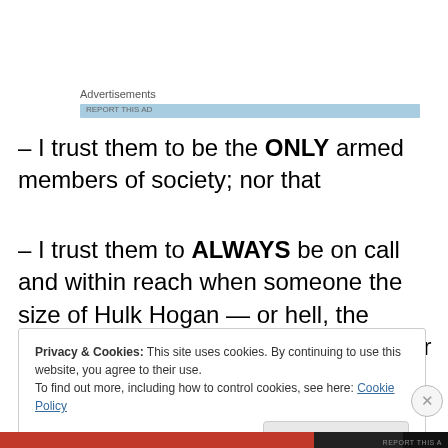[Figure (other): Advertisements bar with light blue background and small text label]
– I trust them to be the ONLY armed members of society; nor that
– I trust them to ALWAYS be on call and within reach when someone the size of Hulk Hogan — or hell, the average paparazzo — goes goblin; nor that
Privacy & Cookies: This site uses cookies. By continuing to use this website, you agree to their use.
To find out more, including how to control cookies, see here: Cookie Policy
Close and accept